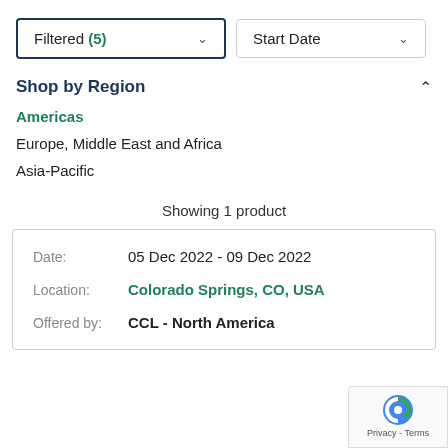Filtered (5)
Start Date
Shop by Region
Americas
Europe, Middle East and Africa
Asia-Pacific
Showing 1 product
| Label | Value |
| --- | --- |
| Date: | 05 Dec 2022 - 09 Dec 2022 |
| Location: | Colorado Springs, CO, USA |
| Offered by: | CCL - North America |